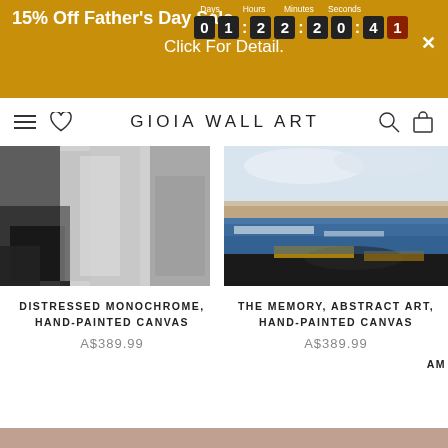15% Off Father's Day Sale  01:22:20:41  Click For Detail.
GIOIA WALL ART
[Figure (photo): Abstract monochrome painting with black brushstrokes at bottom and grey/silver tones above]
DISTRESSED MONOCHROME, HAND-PAINTED CANVAS
A$389.99
[Figure (photo): Abstract landscape painting with blue, gold and grey tones suggesting sea and sky]
THE MEMORY, ABSTRACT ART, HAND-PAINTED CANVAS
A$389.99
AM